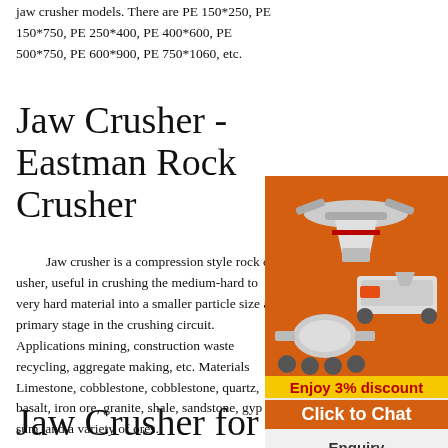jaw crusher models. There are PE 150*250, PE 150*750, PE 250*400, PE 400*600, PE 500*750, PE 600*900, PE 750*1060, etc.
Jaw Crusher - Eastman Rock Crusher
Jaw crusher is a compression style rock crusher, useful in crushing the medium-hard to very hard material into a smaller particle size at primary stage in the crushing circuit. Applications mining, construction waste recycling, aggregate making, etc. Materials Limestone, cobblestone, cobblestone, quartz, basalt, iron ore, granite, shale, sandstone, gypsum, and a variety of ores.
[Figure (illustration): Orange sidebar panel with images of industrial rock crushers/grinding mills, a yellow discount bar reading 'Enjoy 3% discount', an orange 'Click to Chat' button, a gray 'Enquiry' section, and email limingjlmofen@sina.com]
Jaw Crusher for Primary Crushing